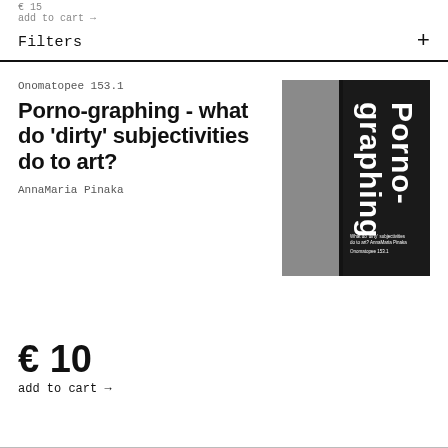€ 15
add to cart →
Filters +
Onomatopee 153.1
Porno-graphing - what do 'dirty' subjectivities do to art?
AnnaMaria Pinaka
[Figure (photo): Book cover of 'Porno-graphing' — a dark grey/black cover with bold white vertical text reading 'Porno-graphing' and small subtitle text at bottom right. The left side shows a grey textured/fabric background.]
€ 10
add to cart →